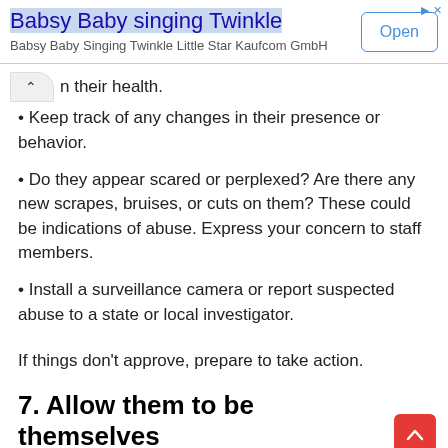[Figure (screenshot): Advertisement banner for 'Babsy Baby singing Twinkle' app with Open button]
n their health.
• Keep track of any changes in their presence or behavior.
• Do they appear scared or perplexed? Are there any new scrapes, bruises, or cuts on them? These could be indications of abuse. Express your concern to staff members.
• Install a surveillance camera or report suspected abuse to a state or local investigator.
If things don't approve, prepare to take action.
7. Allow them to be themselves